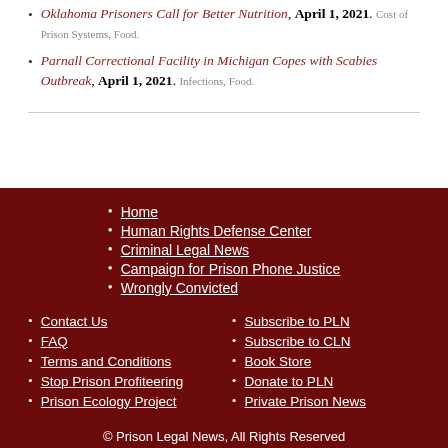Oklahoma Prisoners Call for Better Nutrition, April 1, 2021. Cost of Prison Systems, Food.
Parnall Correctional Facility in Michigan Copes with Scabies Outbreak, April 1, 2021. Infections, Food.
Home
Human Rights Defense Center
Criminal Legal News
Campaign for Prison Phone Justice
Wrongly Convicted
Contact Us
FAQ
Terms and Conditions
Stop Prison Profiteering
Prison Ecology Project
Subscribe to PLN
Subscribe to CLN
Book Store
Donate to PLN
Private Prison News
© Prison Legal News, All Rights Reserved